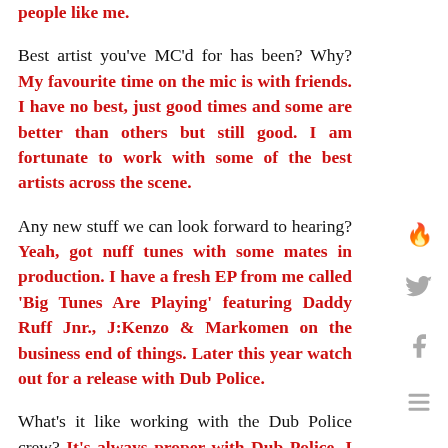people like me.
Best artist you've MC'd for has been? Why? My favourite time on the mic is with friends. I have no best, just good times and some are better than others but still good. I am fortunate to work with some of the best artists across the scene.
Any new stuff we can look forward to hearing? Yeah, got nuff tunes with some mates in production. I have a fresh EP from me called 'Big Tunes Are Playing' featuring Daddy Ruff Jnr., J:Kenzo & Markomen on the business end of things. Later this year watch out for a release with Dub Police.
What's it like working with the Dub Police crew? It's always proper with Dub Police. I have a great time hanging with the DJs and